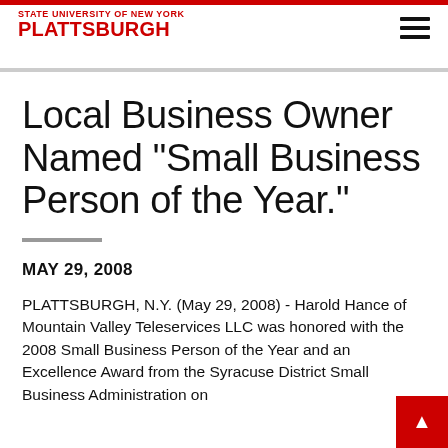STATE UNIVERSITY OF NEW YORK PLATTSBURGH
Local Business Owner Named "Small Business Person of the Year."
MAY 29, 2008
PLATTSBURGH, N.Y. (May 29, 2008) - Harold Hance of Mountain Valley Teleservices LLC was honored with the 2008 Small Business Person of the Year and an Excellence Award from the Syracuse District Small Business Administration on